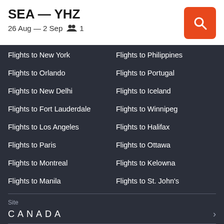SEA — YHZ
26 Aug — 2 Sep  👥 1
Flights to New York
Flights to Philippines
Flights to Orlando
Flights to Portugal
Flights to New Delhi
Flights to Iceland
Flights to Fort Lauderdale
Flights to Winnipeg
Flights to Los Angeles
Flights to Halifax
Flights to Paris
Flights to Ottawa
Flights to Montreal
Flights to Kelowna
Flights to Manila
Flights to St. John's
Flights to Cancun
Flights to Saskatoon
Flights to Calgary
Site
CANADA